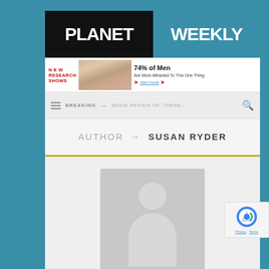[Figure (logo): Planet Weekly logo with black background for PLANET and teal background for WEEKLY]
[Figure (infographic): Advertisement banner: NEW RESEARCH SHOWS with photo of women, text 74% of Men Are More Attracted To This One Thing, read more link]
BREAKING → MOVIE REVIEW OF "THERE...
AUTHOR → SUSAN RYDER
[Figure (photo): Generic author avatar placeholder - gray silhouette of a person on gray background]
Susan Ryder
[Figure (photo): Bottom partial image, appears to be an indoor scene]